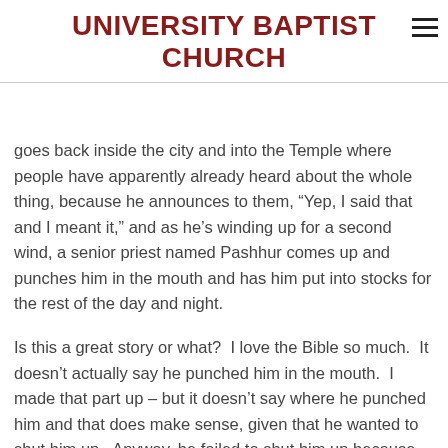UNIVERSITY BAPTIST CHURCH
goes back inside the city and into the Temple where people have apparently already heard about the whole thing, because he announces to them, “Yep, I said that and I meant it,” and as he’s winding up for a second wind, a senior priest named Pashhur comes up and punches him in the mouth and has him put into stocks for the rest of the day and night.
Is this a great story or what?  I love the Bible so much.  It doesn’t actually say he punched him in the mouth.  I made that part up – but it doesn’t say where he punched him and that does make sense, given that he wanted to shut him up.  Anyway, he failed to shut him up because as soon as morning comes, Pashhur lets him out of the stocks, and through his split lip and broken teeth comes a new sermon for a new day.  Except, it was pretty much